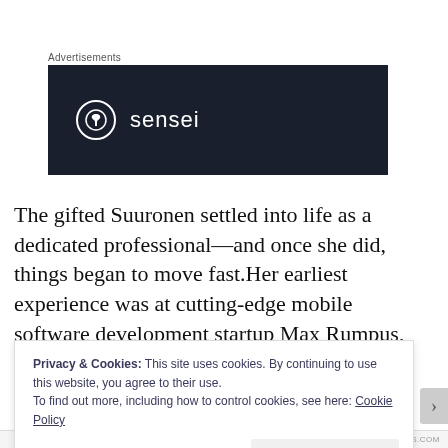Advertisements
[Figure (logo): Sensei brand advertisement banner. Dark navy background with a white circle logo containing a tree/person icon and the word 'sensei' in white lowercase text.]
The gifted Suuronen settled into life as a dedicated professional—and once she did, things began to move fast.Her earliest experience was at cutting-edge mobile software development startup Max Rumpus, essentially
Privacy & Cookies: This site uses cookies. By continuing to use this website, you agree to their use.
To find out more, including how to control cookies, see here: Cookie Policy